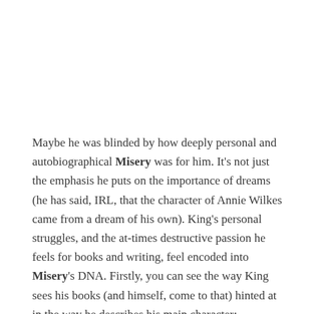Maybe he was blinded by how deeply personal and autobiographical Misery was for him. It's not just the emphasis he puts on the importance of dreams (he has said, IRL, that the character of Annie Wilkes came from a dream of his own). King's personal struggles, and the at-times destructive passion he feels for books and writing, feel encoded into Misery's DNA. Firstly, you can see the way King sees his books (and himself, come to that) hinted at in the way he describes his main character: